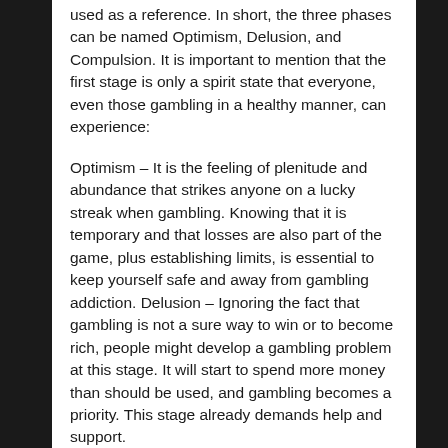used as a reference. In short, the three phases can be named Optimism, Delusion, and Compulsion. It is important to mention that the first stage is only a spirit state that everyone, even those gambling in a healthy manner, can experience:
Optimism – It is the feeling of plenitude and abundance that strikes anyone on a lucky streak when gambling. Knowing that it is temporary and that losses are also part of the game, plus establishing limits, is essential to keep yourself safe and away from gambling addiction. Delusion – Ignoring the fact that gambling is not a sure way to win or to become rich, people might develop a gambling problem at this stage. It will start to spend more money than should be used, and gambling becomes a priority. This stage already demands help and support.